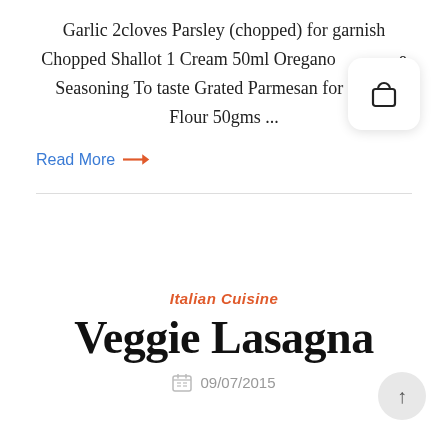Garlic 2cloves Parsley (chopped) for garnish Chopped Shallot 1 Cream 50ml Oregano Seasoning To taste Grated Parmesan for Flour 50gms ...
Read More →
Italian Cuisine
Veggie Lasagna
09/07/2015